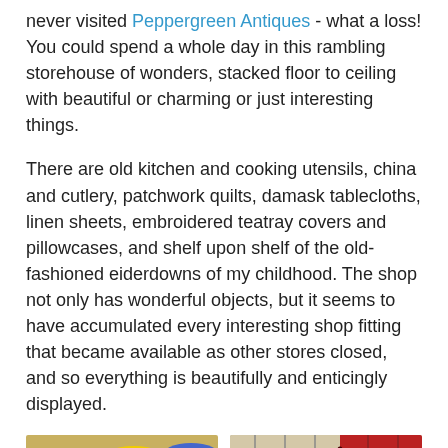never visited Peppergreen Antiques - what a loss! You could spend a whole day in this rambling storehouse of wonders, stacked floor to ceiling with beautiful or charming or just interesting things.
There are old kitchen and cooking utensils, china and cutlery, patchwork quilts, damask tablecloths, linen sheets, embroidered teatray covers and pillowcases, and shelf upon shelf of the old-fashioned eiderdowns of my childhood. The shop not only has wonderful objects, but it seems to have accumulated every interesting shop fitting that became available as other stores closed, and so everything is beautifully and enticingly displayed.
[Figure (photo): Photo of colorful rolled fabric/textile bolts in reds, yellows, greens, blues stacked together]
[Figure (photo): Photo of patchwork quilt showing plaid and checkered fabric patches in red, grey, beige and brown tones]